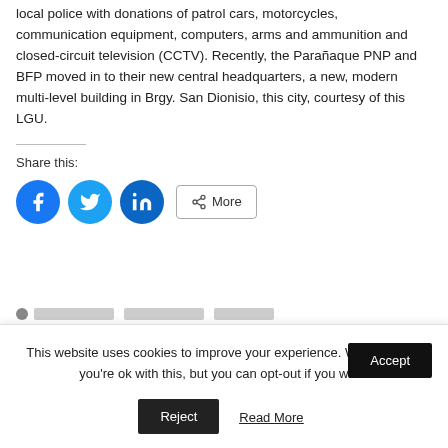local police with donations of patrol cars, motorcycles, communication equipment, computers, arms and ammunition and closed-circuit television (CCTV). Recently, the Parañaque PNP and BFP moved in to their new central headquarters, a new, modern multi-level building in Brgy. San Dionisio, this city, courtesy of this LGU.
Share this:
[Figure (infographic): Social share buttons: Facebook (blue circle), Twitter (light blue circle), LinkedIn (dark blue circle), and a More button with share icon]
This website uses cookies to improve your experience. We'll assume you're ok with this, but you can opt-out if you wish.
Accept
Reject
Read More